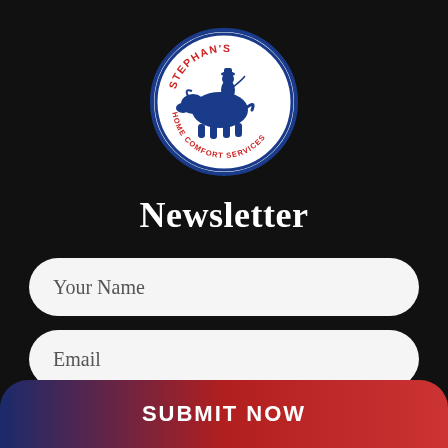[Figure (logo): Stephan's Home Comfort Services circular logo with blue border, red text for STEPHAN'S arched at the top, and a figure riding a bull/bison in the center, HOME COMFORT SERVICES curved along the bottom]
Newsletter
Your Name
Email
SUBMIT NOW